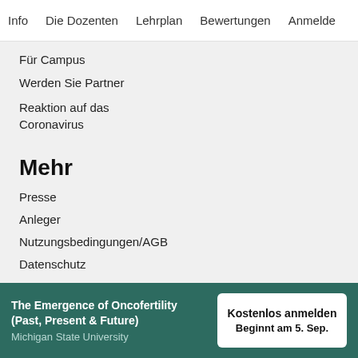Info   Die Dozenten   Lehrplan   Bewertungen   Anmelde
Für Campus
Werden Sie Partner
Reaktion auf das Coronavirus
Mehr
Presse
Anleger
Nutzungsbedingungen/AGB
Datenschutz
The Emergence of Oncofertility (Past, Present & Future)
Michigan State University
Kostenlos anmelden
Beginnt am 5. Sep.